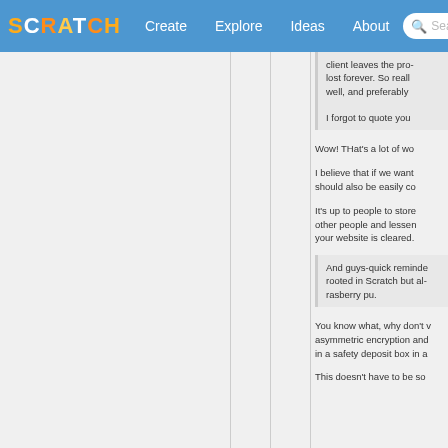SCRATCH | Create | Explore | Ideas | About | Search
client leaves the pro- lost forever. So reall well, and preferably
I forgot to quote you
Wow! THat's a lot of wo
I believe that if we want should also be easily co
It's up to people to store other people and lessen your website is cleared.
And guys-quick reminde rooted in Scratch but al- rasberry pu.
You know what, why don't v asymmetric encryption and in a safety deposit box in a
This doesn't have to be so